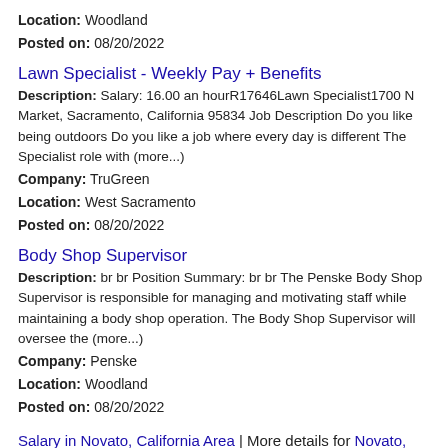Location: Woodland
Posted on: 08/20/2022
Lawn Specialist - Weekly Pay + Benefits
Description: Salary: 16.00 an hourR17646Lawn Specialist1700 N Market, Sacramento, California 95834 Job Description Do you like being outdoors Do you like a job where every day is different The Specialist role with (more...)
Company: TruGreen
Location: West Sacramento
Posted on: 08/20/2022
Body Shop Supervisor
Description: br br Position Summary: br br The Penske Body Shop Supervisor is responsible for managing and motivating staff while maintaining a body shop operation. The Body Shop Supervisor will oversee the (more...)
Company: Penske
Location: Woodland
Posted on: 08/20/2022
Salary in Novato, California Area | More details for Novato, California Jobs |Salary